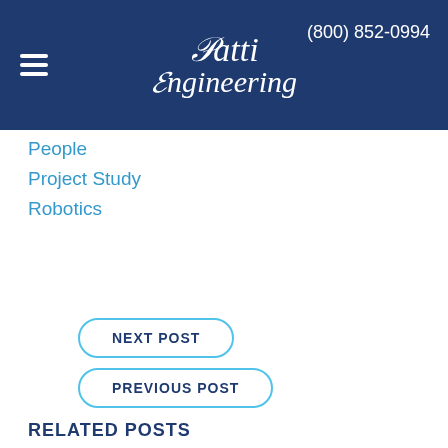Patti Engineering | (800) 852-0994
People
Project Study
Robotics
NEXT POST
PREVIOUS POST
RELATED POSTS
[Figure (screenshot): Preview thumbnail of a related blog post showing a blue interface with a question about tracking items]